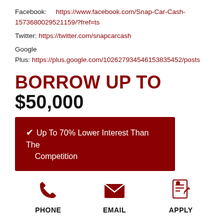Facebook: https://www.facebook.com/Snap-Car-Cash-1573680029521159/?fref=ts
Twitter: https://twitter.com/snapcarcash
Google Plus: https://plus.google.com/102627934546153835452/posts
BORROW UP TO $50,000
✔ Up To 70% Lower Interest Than The Competition
[Figure (infographic): Three contact icons: phone, email, apply with labels PHONE, EMAIL, APPLY]